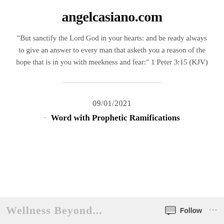angelcasiano.com
"But sanctify the Lord God in your hearts: and be ready always to give an answer to every man that asketh you a reason of the hope that is in you with meekness and fear:" 1 Peter 3:15 (KJV)
09/01/2021
Word with Prophetic Ramifications
Wellness Beyond ... Follow ...